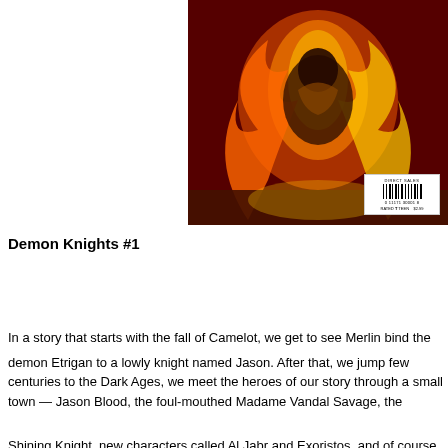[Figure (illustration): Comic book cover art for Demon Knights #1 showing a demonic armored figure surrounded by fire and flames in orange, red and yellow tones. A barcode is visible in the bottom right corner of the cover image.]
Demon Knights #1
In a story that starts with the fall of Camelot, we get to see Merlin bind the demon Etrigan to a lowly knight named Jason. After that, we jump forward a few centuries to the Dark Ages, we meet the heroes of our story passing through a small town — Jason Blood, the foul-mouthed Madame Xanadu, Vandal Savage, the Shining Knight, new characters called Al Jabr and Exoristos, and of course, Jason's worse half, Etrigan. And they've got to save the world from the evil wizard Mordru. Holy cow, the world is goi